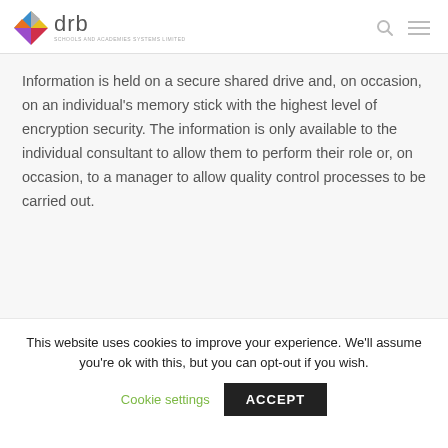drb SCHOOLS AND ACADEMIES SYSTEMS LIMITED
Information is held on a secure shared drive and, on occasion, on an individual's memory stick with the highest level of encryption security. The information is only available to the individual consultant to allow them to perform their role or, on occasion, to a manager to allow quality control processes to be carried out.
This website uses cookies to improve your experience. We'll assume you're ok with this, but you can opt-out if you wish.
Cookie settings   ACCEPT